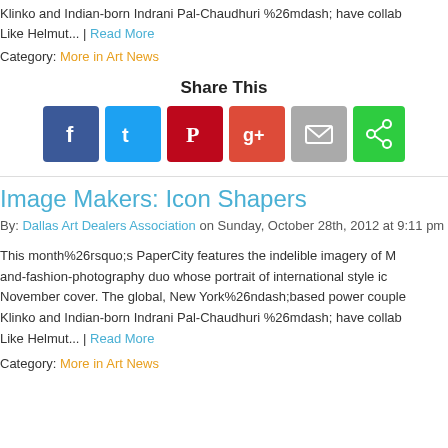Klinko and Indian-born Indrani Pal-Chaudhuri %26mdash; have collab Like Helmut... | Read More
Category: More in Art News
[Figure (screenshot): Share This section with social media buttons: Facebook, Twitter, Pinterest, Google+, Email, Share]
Image Makers: Icon Shapers
By: Dallas Art Dealers Association on Sunday, October 28th, 2012 at 9:11 pm
This month%26rsquo;s PaperCity features the indelible imagery of M and-fashion-photography duo whose portrait of international style ic November cover. The global, New York%26ndash;based power couple Klinko and Indian-born Indrani Pal-Chaudhuri %26mdash; have collab Like Helmut... | Read More
Category: More in Art News